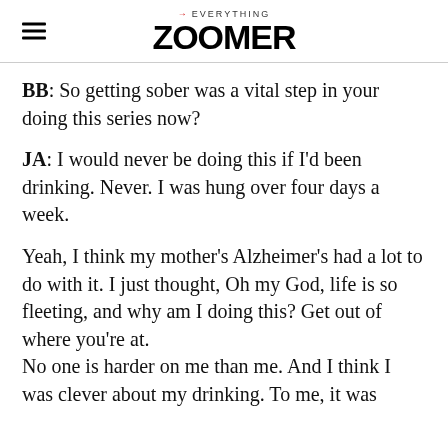→EVERYTHING ZOOMER
BB: So getting sober was a vital step in your doing this series now?
JA: I would never be doing this if I'd been drinking. Never. I was hung over four days a week.
Yeah, I think my mother's Alzheimer's had a lot to do with it. I just thought, Oh my God, life is so fleeting, and why am I doing this? Get out of where you're at.
No one is harder on me than me. And I think I was clever about my drinking. To me, it was